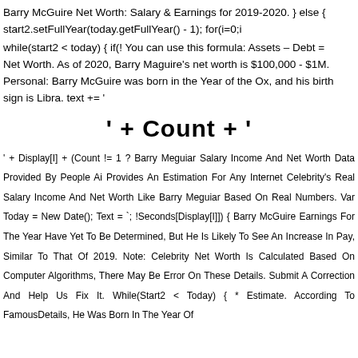Barry McGuire Net Worth: Salary & Earnings for 2019-2020. } else { start2.setFullYear(today.getFullYear() - 1); for(i=0;i
while(start2 < today) { if(! You can use this formula: Assets – Debt = Net Worth. As of 2020, Barry Maguire's net worth is $100,000 - $1M. Personal: Barry McGuire was born in the Year of the Ox, and his birth sign is Libra. text += '
' + Count + '
' + Display[I] + (Count != 1 ? Barry Meguiar Salary Income And Net Worth Data Provided By People Ai Provides An Estimation For Any Internet Celebrity's Real Salary Income And Net Worth Like Barry Meguiar Based On Real Numbers. Var Today = New Date(); Text = '`'; !Seconds[Display[I]]) { Barry McGuire Earnings For The Year Have Yet To Be Determined, But He Is Likely To See An Increase In Pay, Similar To That Of 2019. Note: Celebrity Net Worth Is Calculated Based On Computer Algorithms, There May Be Error On These Details. Submit A Correction And Help Us Fix It. While(Start2 < Today) { * Estimate. According To FamousDetails, He Was Born In The Year Of